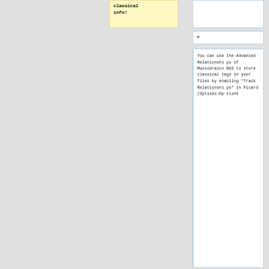classical info!
+
You can use the Advanced Relationships of MusicbrainzNGS to store classical tags in your files by enabling “Track Relationships” in Picard (Options→Options